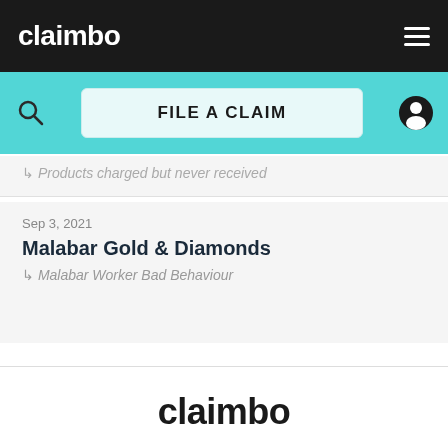claimbo
[Figure (screenshot): Navigation bar with search icon, FILE A CLAIM button, and user account icon on teal background]
↳ Products charged but never received
Sep 3, 2021
Malabar Gold & Diamonds
↳ Malabar Worker Bad Behaviour
claimbo